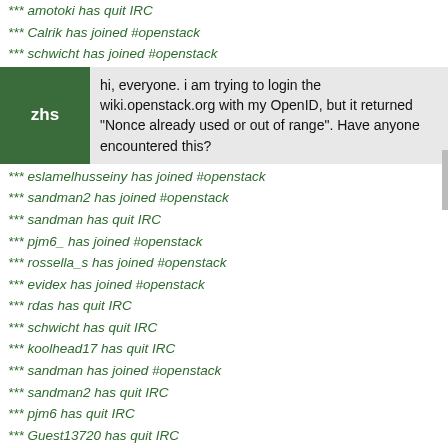*** amotoki has quit IRC
*** Calrik has joined #openstack
*** schwicht has joined #openstack
zhs: hi, everyone. i am trying to login the wiki.openstack.org with my OpenID, but it returned "Nonce already used or out of range". Have anyone encountered this?
*** eslamelhusseiny has joined #openstack
*** sandman2 has joined #openstack
*** sandman has quit IRC
*** pjm6_ has joined #openstack
*** rossella_s has joined #openstack
*** evidex has joined #openstack
*** rdas has quit IRC
*** schwicht has quit IRC
*** koolhead17 has quit IRC
*** sandman has joined #openstack
*** sandman2 has quit IRC
*** pjm6 has quit IRC
*** Guest13720 has quit IRC
*** snarwade has quit IRC
*** sree has joined #openstack